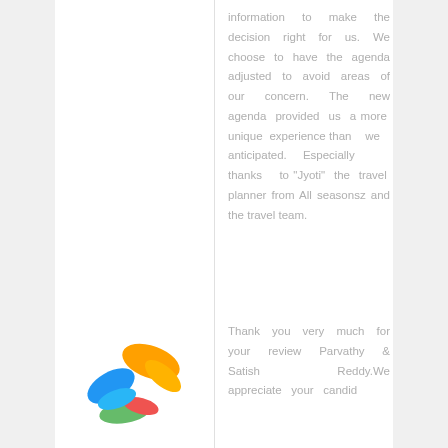information to make the decision right for us. We choose to have the agenda adjusted to avoid areas of our concern. The new agenda provided us a more unique experience than we anticipated. Especially thanks to "Jyoti" the travel planner from All seasonsz and the travel team.
[Figure (logo): Colorful butterfly/flower logo with blue, yellow/orange, green and red leaf shapes]
Thank you very much for your review Parvathy & Satish Reddy.We appreciate your candid